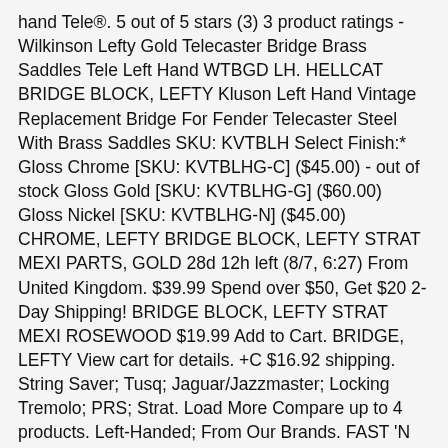hand Tele®. 5 out of 5 stars (3) 3 product ratings - Wilkinson Lefty Gold Telecaster Bridge Brass Saddles Tele Left Hand WTBGD LH. HELLCAT BRIDGE BLOCK, LEFTY Kluson Left Hand Vintage Replacement Bridge For Fender Telecaster Steel With Brass Saddles SKU: KVTBLH Select Finish:* Gloss Chrome [SKU: KVTBLHG-C] ($45.00) - out of stock Gloss Gold [SKU: KVTBLHG-G] ($60.00) Gloss Nickel [SKU: KVTBLHG-N] ($45.00) CHROME, LEFTY BRIDGE BLOCK, LEFTY STRAT MEXI PARTS, GOLD 28d 12h left (8/7, 6:27) From United Kingdom. $39.99 Spend over $50, Get $20 2-Day Shipping! BRIDGE BLOCK, LEFTY STRAT MEXI ROSEWOOD $19.99 Add to Cart. BRIDGE, LEFTY View cart for details. +C $16.92 shipping. String Saver; Tusq; Jaguar/Jazzmaster; Locking Tremolo; PRS; Strat. Load More Compare up to 4 products. Left-Handed; From Our Brands. FAST 'N FREE. BRIDGE. VINTAGE STEEL $74.99 2 1/8" string spacing. There seems to be a problem serving the request at this time, {"modules": ["unloadOptimization","bandwidthDetection"],"unloadOptimi {"browsers": {"Firefox":true,"Chrome":true}},"bandwidthDetection": {"url":"https://ir.ebaystatic.com/cr/v/c1/thirtysevens.jpg","max Gotoh GTC202 Hardtail Telecaster Bridge Left Handed (Chrome) C $132.60. AVRI USA ACOUSTIC Aftermarket: